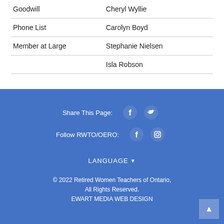| Goodwill | Cheryl Wyllie |
| Phone List | Carolyn Boyd |
| Member at Large | Stephanie Nielsen |
|  | Isla Robson |
Share This Page:
Follow RWTO/OERO:
LANGUAGE
© 2022 Retired Women Teachers of Ontario, All Rights Reserved.
EWART MEDIA WEB DESIGN